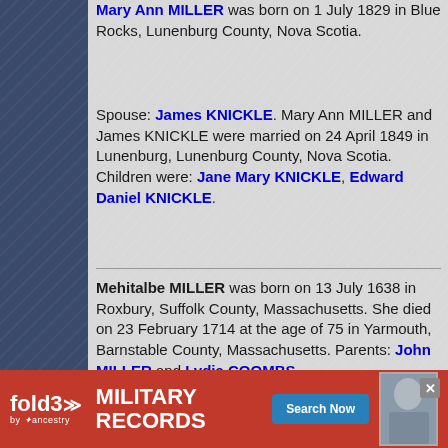Mary Ann MILLER was born on 1 July 1829 in Blue Rocks, Lunenburg County, Nova Scotia.
Spouse: James KNICKLE. Mary Ann MILLER and James KNICKLE were married on 24 April 1849 in Lunenburg, Lunenburg County, Nova Scotia. Children were: Jane Mary KNICKLE, Edward Daniel KNICKLE.
Mehitalbe MILLER was born on 13 July 1638 in Roxbury, Suffolk County, Massachusetts. She died on 23 February 1714 at the age of 75 in Yarmouth, Barnstable County, Massachusetts. Parents: John MILLER and Lydia COOMBS.
Spouse: John CROWELL. Mehitalbe MILLER and John CROWELL were married
[Figure (infographic): fold3 by Ancestry advertisement banner for Military Records with Search Now button]